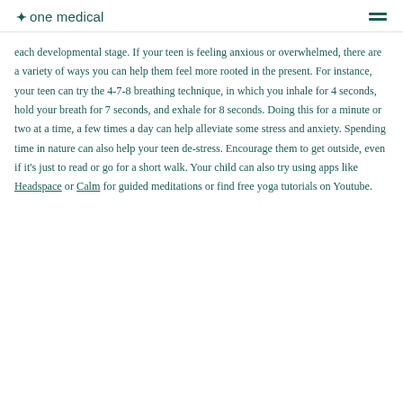one medical
each developmental stage. If your teen is feeling anxious or overwhelmed, there are a variety of ways you can help them feel more rooted in the present. For instance, your teen can try the 4-7-8 breathing technique, in which you inhale for 4 seconds, hold your breath for 7 seconds, and exhale for 8 seconds. Doing this for a minute or two at a time, a few times a day can help alleviate some stress and anxiety. Spending time in nature can also help your teen de-stress. Encourage them to get outside, even if it's just to read or go for a short walk. Your child can also try using apps like Headspace or Calm for guided meditations or find free yoga tutorials on Youtube.